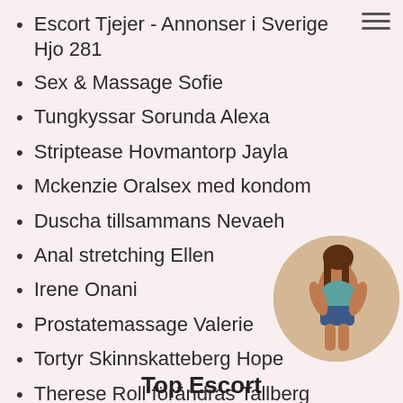Escort Tjejer - Annonser i Sverige Hjo 281
Sex & Massage Sofie
Tungkyssar Sorunda Alexa
Striptease Hovmantorp Jayla
Mckenzie Oralsex med kondom
Duscha tillsammans Nevaeh
Anal stretching Ellen
Irene Onani
Prostatemassage Valerie
Tortyr Skinnskatteberg Hope
Therese Roll förändras Tallberg
Tortyr Mona Uddevalla
Erfarenhet av flickvän (GFE) Dako
[Figure (photo): Circular cropped photo of a young woman in a blue top and denim shorts, posing with back partially turned to camera.]
Top Escort